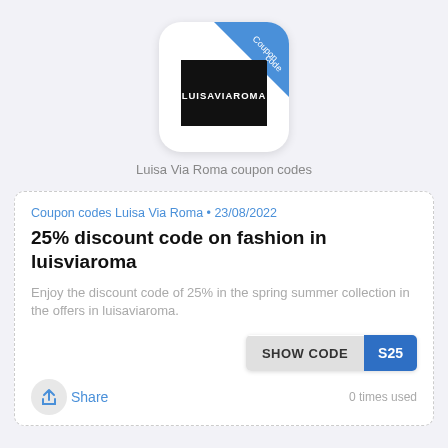[Figure (logo): Luisa Via Roma app icon with black square logo and blue diagonal 'Coupon code' ribbon banner in top-right corner]
Luisa Via Roma coupon codes
Coupon codes Luisa Via Roma • 23/08/2022
25% discount code on fashion in luisviaroma
Enjoy the discount code of 25% in the spring summer collection in the offers in luisaviaroma.
[Figure (other): Show code button with grey left part reading SHOW CODE and blue right part reading S25]
Share
0 times used